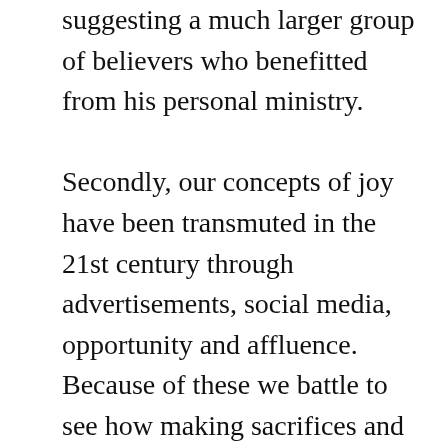suggesting a much larger group of believers who benefitted from his personal ministry.

Secondly, our concepts of joy have been transmuted in the 21st century through advertisements, social media, opportunity and affluence. Because of these we battle to see how making sacrifices and experiencing joy might go hand in hand. Joy and sacrifice seem mutually exclusive. But for Paul they were almost one and the same. He delighted in Christ's glory, gospel proclamation and the good of others. There is joy in those things for us in the present and not only the future. But we are willing to make sacrifi...